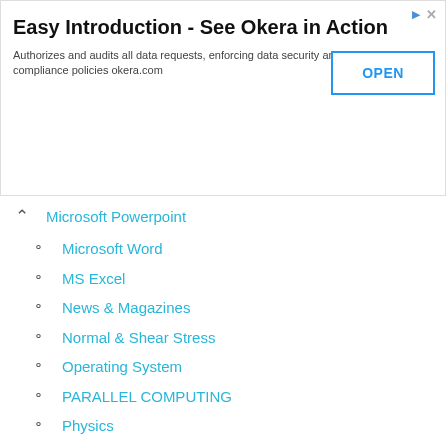[Figure (screenshot): Advertisement banner for Okera - Easy Introduction. Shows title 'Easy Introduction - See Okera in Action', description text, and an OPEN button.]
Microsoft Powerpoint
Microsoft Word
MS Excel
News & Magazines
Normal & Shear Stress
Operating System
PARALLEL COMPUTING
Physics
Questionnaire About Apps
Refrigeration and Air-conditioning
Shear Force and Bending Moment
Social Apps Review